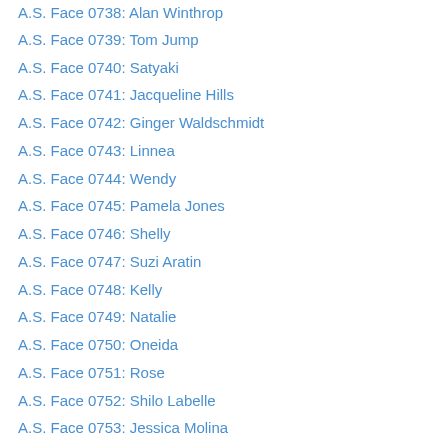A.S. Face 0739: Tom Jump
A.S. Face 0740: Satyaki
A.S. Face 0741: Jacqueline Hills
A.S. Face 0742: Ginger Waldschmidt
A.S. Face 0743: Linnea
A.S. Face 0744: Wendy
A.S. Face 0745: Pamela Jones
A.S. Face 0746: Shelly
A.S. Face 0747: Suzi Aratin
A.S. Face 0748: Kelly
A.S. Face 0749: Natalie
A.S. Face 0750: Oneida
A.S. Face 0751: Rose
A.S. Face 0752: Shilo Labelle
A.S. Face 0753: Jessica Molina
A.S. Face 0754: Stephanie Webb
A.S. Face 0755: Tina Leblanc
A.S. Face 0756: Laura Fedorowicz
A.S. Face 0757: Nikohl Failor